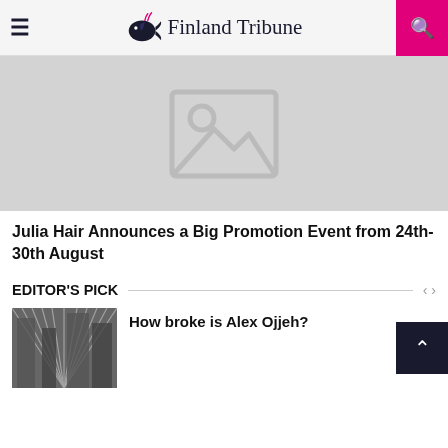Finland Tribune
[Figure (photo): Placeholder image with mountain/image icon on grey background]
Julia Hair Announces a Big Promotion Event from 24th-30th August
EDITOR'S PICK
[Figure (photo): Black and white photo of tall buildings viewed from below]
How broke is Alex Ojjeh?